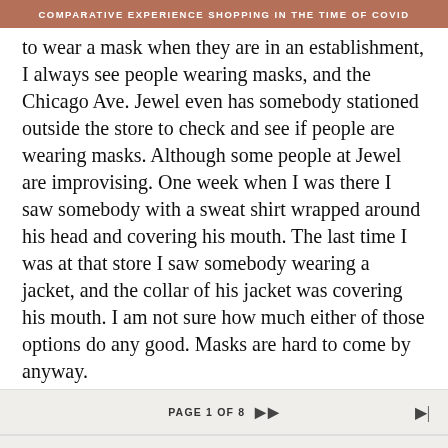COMPARATIVE EXPERIENCE SHOPPING IN THE TIME OF COVID
to wear a mask when they are in an establishment, I always see people wearing masks, and the Chicago Ave. Jewel even has somebody stationed outside the store to check and see if people are wearing masks. Although some people at Jewel are improvising. One week when I was there I saw somebody with a sweat shirt wrapped around his head and covering his mouth. The last time I was at that store I saw somebody wearing a jacket, and the collar of his jacket was covering his mouth. I am not sure how much either of those options do any good. Masks are hard to come by anyway.
PAGE 1 OF 8
BACK   FORUM HOME   POST REPLY   TOP
CHAT   ARTICLES   GUIDE   EVENTS   MORE